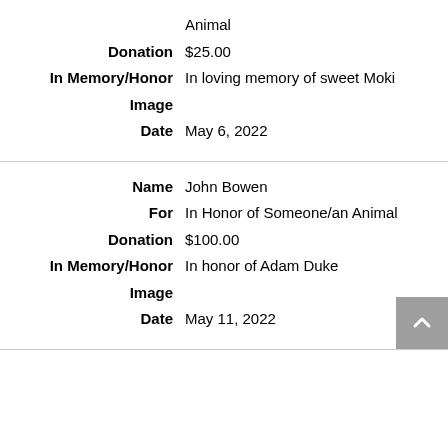| For | In Honor of Someone/an Animal |
| Donation | $25.00 |
| In Memory/Honor | In loving memory of sweet Moki |
| Image |  |
| Date | May 6, 2022 |
| Name | John Bowen |
| For | In Honor of Someone/an Animal |
| Donation | $100.00 |
| In Memory/Honor | In honor of Adam Duke |
| Image |  |
| Date | May 11, 2022 |